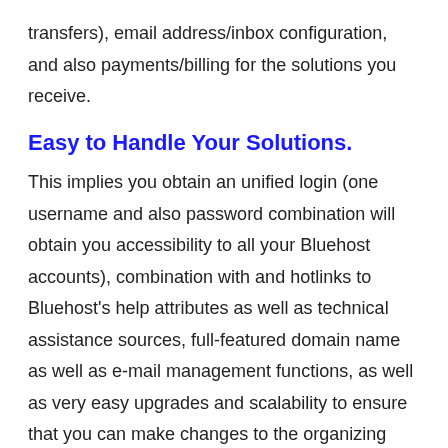transfers), email address/inbox configuration, and also payments/billing for the solutions you receive.
Easy to Handle Your Solutions.
This implies you obtain an unified login (one username and also password combination will obtain you accessibility to all your Bluehost accounts), combination with and hotlinks to Bluehost's help attributes as well as technical assistance sources, full-featured domain name as well as e-mail management functions, as well as very easy upgrades and scalability to ensure that you can make changes to the organizing that backs your internet site.
Expand Your Organization With Countless Apps.
With Bluehost, you'll have an easy as well as smooth time structure, customizing, as well as handling your web site whether you're a novice who needs a little hand-holding or a skilled person